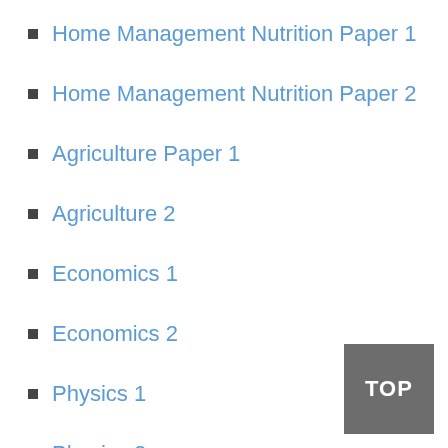Home Management Nutrition Paper 1
Home Management Nutrition Paper 2
Agriculture Paper 1
Agriculture 2
Economics 1
Economics 2
Physics 1
Physics 2
General English 1
General English 2
General English 3
General English 4